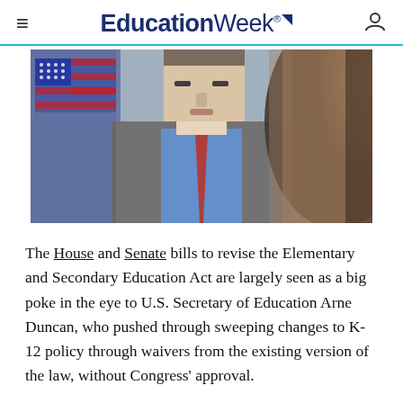EducationWeek
[Figure (photo): Close-up photo of two men: a man in a grey suit with blue shirt and red tie, with an American flag behind him, and a partial view of another man in the foreground right.]
The House and Senate bills to revise the Elementary and Secondary Education Act are largely seen as a big poke in the eye to U.S. Secretary of Education Arne Duncan, who pushed through sweeping changes to K-12 policy through waivers from the existing version of the law, without Congress' approval.
But if an eventual rewrite of the No Child Left Behind Act becomes law without major changes before the Obama